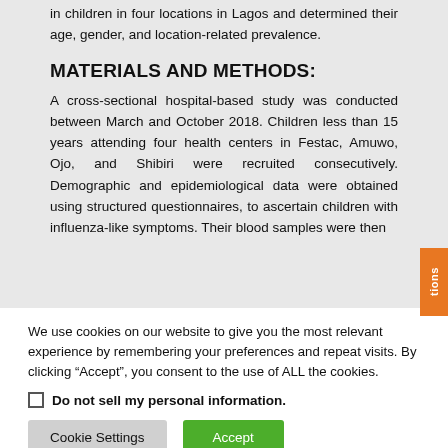in children in four locations in Lagos and determined their age, gender, and location-related prevalence.
MATERIALS AND METHODS:
A cross-sectional hospital-based study was conducted between March and October 2018. Children less than 15 years attending four health centers in Festac, Amuwo, Ojo, and Shibiri were recruited consecutively. Demographic and epidemiological data were obtained using structured questionnaires, to ascertain children with influenza-like symptoms. Their blood samples were then
We use cookies on our website to give you the most relevant experience by remembering your preferences and repeat visits. By clicking “Accept”, you consent to the use of ALL the cookies.
Do not sell my personal information.
Cookie Settings
Accept